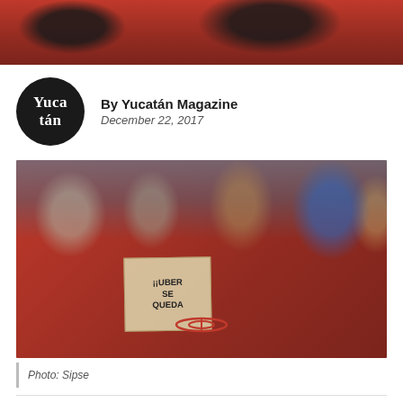[Figure (photo): Top cropped photo of red cars with dark background, partial view of car headlights]
[Figure (logo): Yucatán Magazine circular black logo with white text reading 'Yuca tán']
By Yucatán Magazine
December 22, 2017
[Figure (photo): Crowd of people surrounding a red Toyota car with a handwritten protest sign on the rear window reading '¡¡UBER SE QUEDA' (UBER STAYS). A man in a blue shirt and another in a grey shirt with a cap are prominently visible.]
Photo: Sipse
Mérida, Yucatán — An unexpected ruling from a federal judge